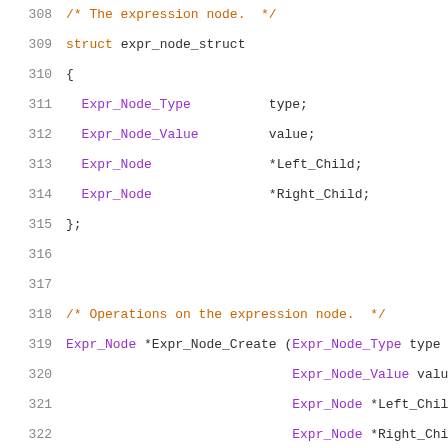308  /* The expression node.  */
309  struct expr_node_struct
310  {
311    Expr_Node_Type          type;
312    Expr_Node_Value         value;
313    Expr_Node               *Left_Child;
314    Expr_Node               *Right_Child;
315  };
316  
317  
318  /* Operations on the expression node.  */
319  Expr_Node *Expr_Node_Create (Expr_Node_Type type,
320                               Expr_Node_Value value,
321                               Expr_Node *Left_Child,
322                               Expr_Node *Right_Child
323  
324  /* Generate the reloc structure as a series of 
325  INSTR_T Expr_Node_Gen_Reloc (Expr_Node *head, i
326  
327  #define MKREF(x)        mkexpr (0,x)
328  
329  #define NULL_CODE ((INSTR_T) 0)